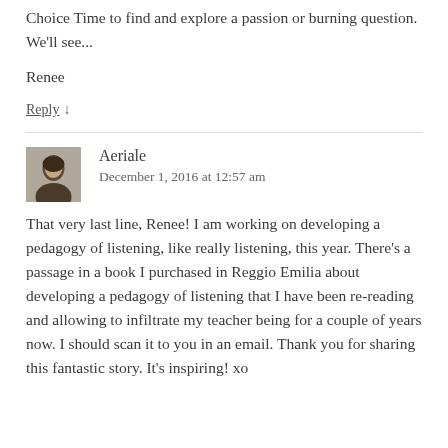Choice Time to find and explore a passion or burning question. We'll see...
Renee
Reply ↓
Aeriale
December 1, 2016 at 12:57 am
That very last line, Renee! I am working on developing a pedagogy of listening, like really listening, this year. There's a passage in a book I purchased in Reggio Emilia about developing a pedagogy of listening that I have been re-reading and allowing to infiltrate my teacher being for a couple of years now. I should scan it to you in an email. Thank you for sharing this fantastic story. It's inspiring! xo